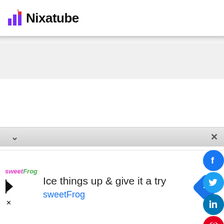[Figure (logo): Nixatube logo with purple/red bar chart icon and bold black text]
[Figure (infographic): Social media share buttons: Facebook, Twitter, LinkedIn, Pinterest, Reddit, WhatsApp on right side]
[Figure (screenshot): Collapsed browser bar with chevron down icon and X close button]
[Figure (infographic): Advertisement banner: sweetFrog logo, text 'Ice things up & give it a try', 'sweetFrog', blue arrow diamond icon on right]